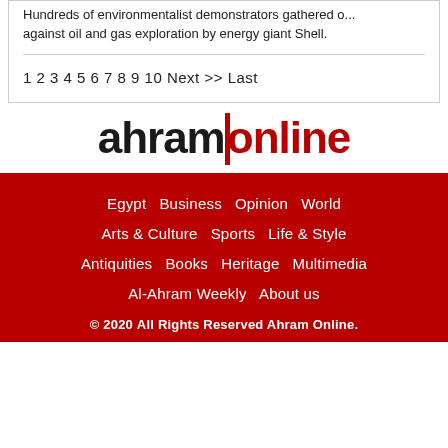Hundreds of environmentalist demonstrators gathered o... against oil and gas exploration by energy giant Shell.
1 2 3 4 5 6 7 8 9 10 Next >> Last
[Figure (logo): Ahram Online logo: 'ahram' in black bold text and 'online' in dark red bold text with a red vertical bar accent]
Egypt  Business  Opinion  World  Arts & Culture  Sports  Life & Style  Antiquities  Books  Heritage  Multimedia  Al-Ahram Weekly  About us  © 2020 All Rights Reserved Ahram Online.